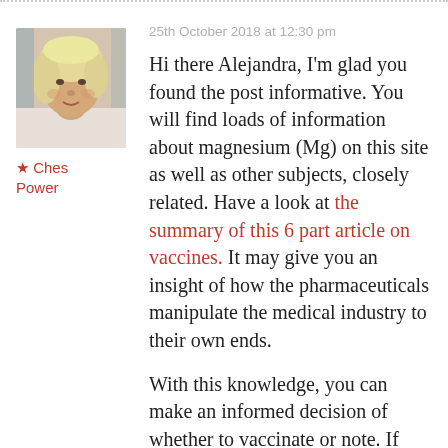[Figure (photo): Profile photo of an older woman with blonde/white hair, facing slightly to the side, appearing to be in a light-colored setting.]
★ Ches Power
25th October 2018 at 12:30 pm
Hi there Alejandra, I'm glad you found the post informative. You will find loads of information about magnesium (Mg) on this site as well as other subjects, closely related. Have a look at the summary of this 6 part article on vaccines. It may give you an insight of how the pharmaceuticals manipulate the medical industry to their own ends.
With this knowledge, you can make an informed decision of whether to vaccinate or note. If you are in the US you may be mandated to have a vaccine. This is an abuse of civil rights. Nobody should be able to inject a substance into your